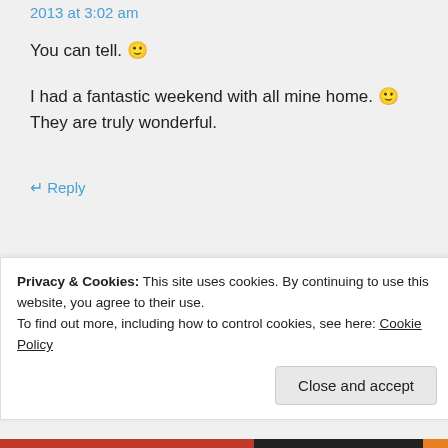2013 at 3:02 am
You can tell. 🙂
I had a fantastic weekend with all mine home. 🙂 They are truly wonderful.
↵ Reply
sustainabilitea on May 6, 2013 at 3:03 am
Privacy & Cookies: This site uses cookies. By continuing to use this website, you agree to their use.
To find out more, including how to control cookies, see here: Cookie Policy
Close and accept